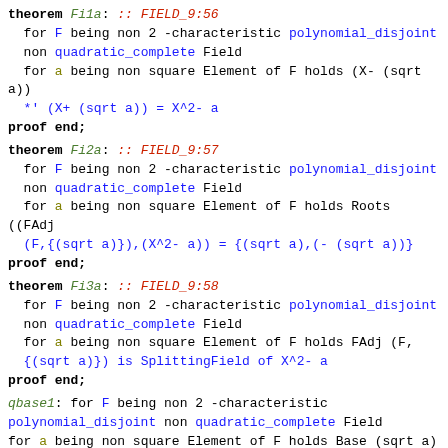theorem Fi1a: :: FIELD_9:56
  for F being non 2 -characteristic polynomial_disjoint
  non quadratic_complete Field
  for a being non square Element of F holds (X- (sqrt a))
  *' (X+ (sqrt a)) = X^2- a
proof end;
theorem Fi2a: :: FIELD_9:57
  for F being non 2 -characteristic polynomial_disjoint
  non quadratic_complete Field
  for a being non square Element of F holds Roots ((FAdj
  (F,{(sqrt a)}),(X^2- a)) = {(sqrt a),(- (sqrt a))}
proof end;
theorem Fi3a: :: FIELD_9:58
  for F being non 2 -characteristic polynomial_disjoint
  non quadratic_complete Field
  for a being non square Element of F holds FAdj (F,
  {(sqrt a)}) is SplittingField of X^2- a
proof end;
qbase1: for F being non 2 -characteristic
polynomial_disjoint non quadratic_complete Field
for a being non square Element of F holds Base (sqrt a) =
{(1. F),(sqrt a)}
proof end;
theorem qbase4: :: FIELD_9:59
  for F being non 2 -characteristic polynomial_disjoint
  non quadratic_complete Field